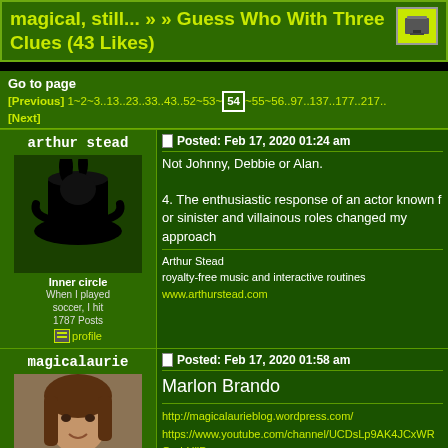magical, still... » » Guess Who With Three Clues (43 Likes)
Go to page [Previous] 1~2~3..13..23..33..43..52~53~54~55~56..97..137..177..217.. [Next]
arthur stead
Inner circle
When I played soccer, I hit 1787 Posts
profile
Posted: Feb 17, 2020 01:24 am
Not Johnny, Debbie or Alan.
4. The enthusiastic response of an actor known for sinister and villainous roles changed my approac...
Arthur Stead
royalty-free music and interactive routines
www.arthurstead.com
magicalaurie
Inner circle
Ontario, Canada
Posted: Feb 17, 2020 01:58 am
Marlon Brando
http://magicalaurieblog.wordpress.com/
https://www.youtube.com/channel/UCDsLp9AK4JCxWRGe-hUiiD